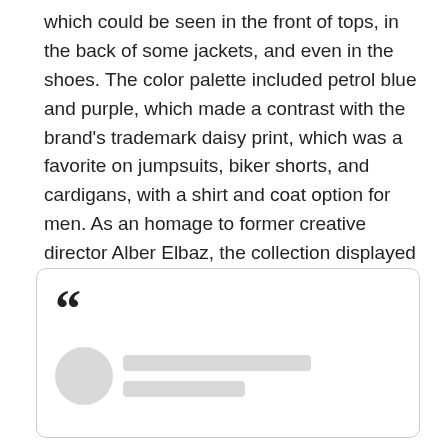which could be seen in the front of tops, in the back of some jackets, and even in the shoes. The color palette included petrol blue and purple, which made a contrast with the brand's trademark daisy print, which was a favorite on jumpsuits, biker shorts, and cardigans, with a shirt and coat option for men. As an homage to former creative director Alber Elbaz, the collection displayed the classic draped mini dresses in tulle, which floated as they moved down the runway. Naomi Campbell received rapturous applause as she walked in a suit and an amazing black cape.
[Figure (other): A quote box with a large opening quotation mark and a placeholder profile area showing a grey circle and two grey lines (redacted/blurred author name and subtitle)]